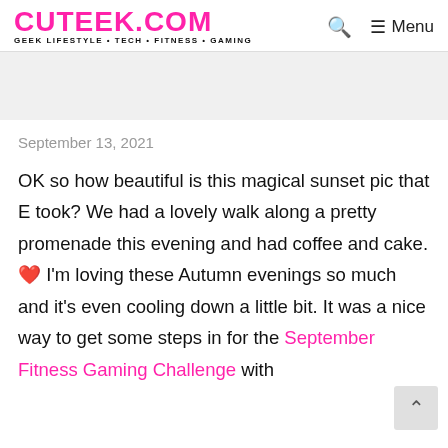CUTEEK.COM — GEEK LIFESTYLE • TECH • FITNESS • GAMING
[Figure (other): Grey advertisement/banner placeholder area]
September 13, 2021
OK so how beautiful is this magical sunset pic that E took? We had a lovely walk along a pretty promenade this evening and had coffee and cake. ❤ I'm loving these Autumn evenings so much and it's even cooling down a little bit. It was a nice way to get some steps in for the September Fitness Gaming Challenge with